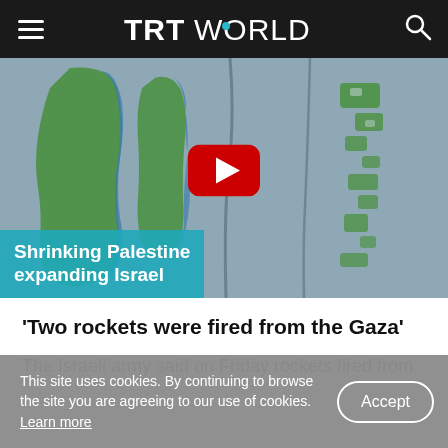TRT WORLD
[Figure (screenshot): Video thumbnail showing maps of Palestine/Israel territorial changes over time with text overlay 'Shrinking Palestine expanding Israel' and a YouTube play button]
'Two rockets were fired from the Gaza'
The Israeli army said on Friday rockets fired from
This site uses cookies. By continuing to browse the site you are agreeing to our use of cookies. Learn more